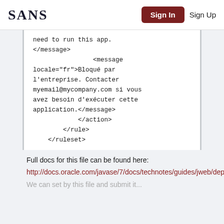SANS   Sign In   Sign Up
need to run this app.
</message>
                <message
locale="fr">Bloqué par
l'entreprise. Contacter
myemail@mycompany.com si vous
avez besoin d'exécuter cette
application.</message>
            </action>
        </rule>
    </ruleset>
Full docs for this file can be found here:
http://docs.oracle.com/javase/7/docs/technotes/guides/jweb/deployment_rules.html
We can set up this file and submit it...